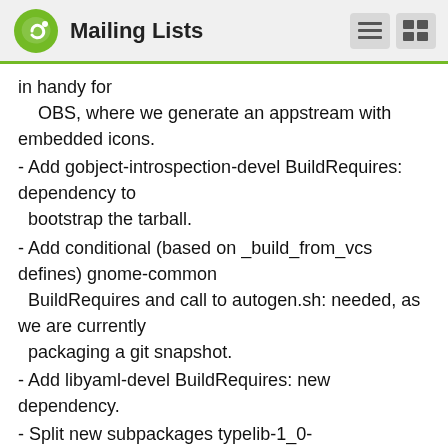Mailing Lists
in handy for
    OBS, where we generate an appstream with embedded icons.
- Add gobject-introspection-devel BuildRequires: dependency to
  bootstrap the tarball.
- Add conditional (based on _build_from_vcs defines) gnome-common
  BuildRequires and call to autogen.sh: needed, as we are currently
  packaging a git snapshot.
- Add libyaml-devel BuildRequires: new dependency.
- Split new subpackages typelib-1_0-AppstreamBuilder-1_0 and
  typelib-1_0-AppstreamGlib-1_0.
- Rename libappstream-builder1 to libappstream-build-7...